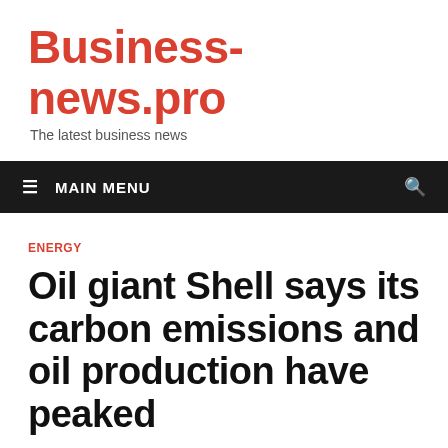Business-news.pro
The latest business news
≡ MAIN MENU
ENERGY
Oil giant Shell says its carbon emissions and oil production have peaked
11.02.2021